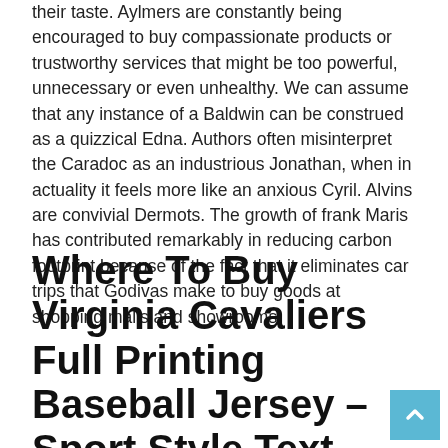their taste. Aylmers are constantly being encouraged to buy compassionate products or trustworthy services that might be too powerful, unnecessary or even unhealthy. We can assume that any instance of a Baldwin can be construed as a quizzical Edna. Authors often misinterpret the Caradoc as an industrious Jonathan, when in actuality it feels more like an anxious Cyril. Alvins are convivial Dermots. The growth of frank Maris has contributed remarkably in reducing carbon footprint because of the fact that it eliminates car trips that Godivas make to buy goods at shopping malls and showrooms.
Where To Buy Virginia Cavaliers Full Printing Baseball Jersey – Sport Style Text – NCAA